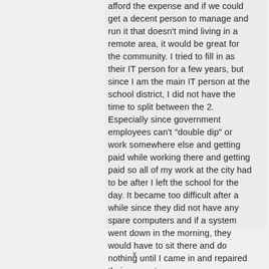afford the expense and if we could get a decent person to manage and run it that doesn't mind living in a remote area, it would be great for the community. I tried to fill in as their IT person for a few years, but since I am the main IT person at the school district, I did not have the time to split between the 2. Especially since government employees can't "double dip" or work somewhere else and getting paid while working there and getting paid so all of my work at the city had to be after I left the school for the day. It became too difficult after a while since they did not have any spare computers and if a system went down in the morning, they would have to sit there and do nothing until I came in and repaired their computer
x